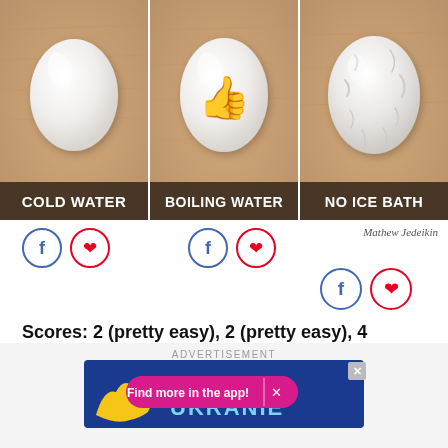[Figure (photo): Three peeled hard-boiled eggs side by side on a wooden background. Left egg (Cold Water) is smooth and white. Middle egg (Boiling Water) is smooth and white with a thumbs-up emoji overlay. Right egg (No Ice Bath) is wrinkled/pitted and white. Each has a dark label bar at the bottom with text: COLD WATER, BOILING WATER, NO ICE BATH in white bold uppercase.]
Mathew Jedeikin
Scores: 2 (pretty easy), 2 (pretty easy), 4 (difficult).
ADVERTISEMENT
[Figure (screenshot): Advertisement banner with blue background showing Ukraine map in yellow, text UKRANIE in light blue. An app promotion pill reads 'Find more in the app!' with an X button. A close button (X) in top-right corner.]